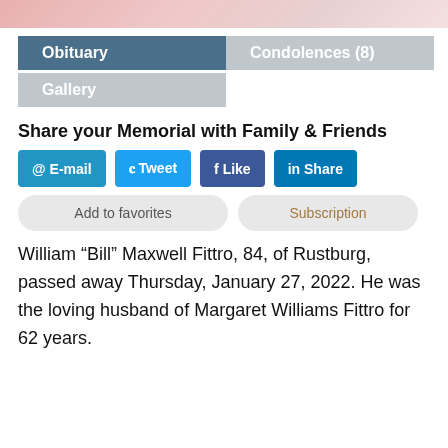[Figure (photo): Top partial image showing a decorative banner or portrait, pinkish/reddish tones]
Obituary
Condolences (8)
Gallery
Share your Memorial with Family & Friends
@ E-mail
Tweet
f Like
in Share
Add to favorites
Subscription
William “Bill” Maxwell Fittro, 84, of Rustburg, passed away Thursday, January 27, 2022. He was the loving husband of Margaret Williams Fittro for 62 years.